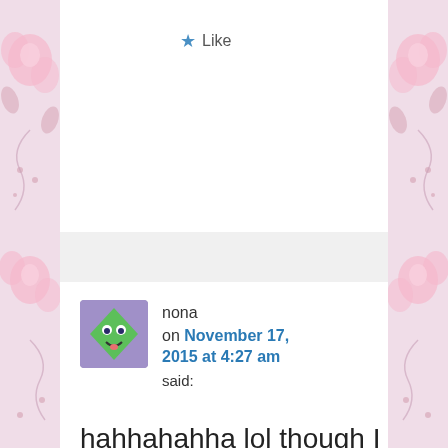[Figure (illustration): Pink floral decorative border on left side of page]
[Figure (illustration): Pink floral decorative border on right side of page]
Like
[Figure (photo): Green cartoon character avatar for user nona, diamond-shaped with face]
nona
on November 17, 2015 at 4:27 am
said:
hahhahahha lol though I don't understand smoking coz its not haram its makruh that mean